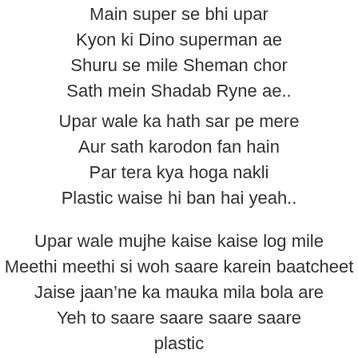Main super se bhi upar
Kyon ki Dino superman ae
Shuru se mile Sheman chor
Sath mein Shadab Ryne ae..
Upar wale ka hath sar pe mere
Aur sath karodon fan hain
Par tera kya hoga nakli
Plastic waise hi ban hai yeah..
Upar wale mujhe kaise kaise log mile
Meethi meethi si woh saare karein baatcheet
Jaise jaan'ne ka mauka mila bola are
Yeh to saare saare saare saare plastic